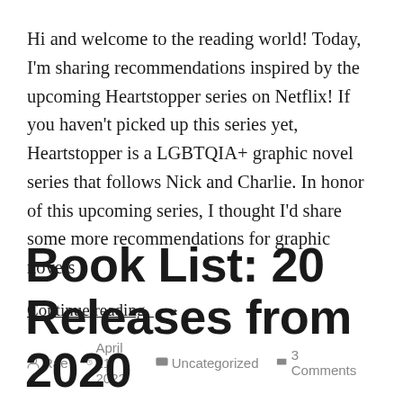Hi and welcome to the reading world! Today, I'm sharing recommendations inspired by the upcoming Heartstopper series on Netflix! If you haven't picked up this series yet, Heartstopper is a LGBTQIA+ graphic novel series that follows Nick and Charlie. In honor of this upcoming series, I thought I'd share some more recommendations for graphic novels
Continue reading  →
Rae  April 21, 2022  Uncategorized  3 Comments
Book List: 20 Releases from 2020